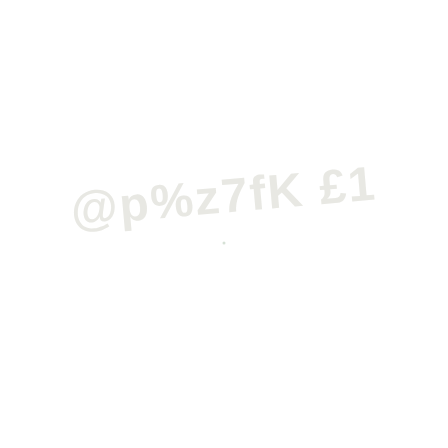[Figure (other): Nearly blank white page with a very faint watermark-style text reading something like '@p%z7fK £1' or similar distorted/encoded characters in a light gray, and a tiny dot near the center of the page.]